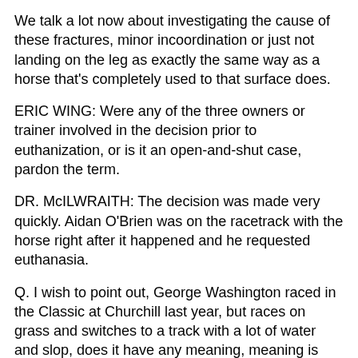We talk a lot now about investigating the cause of these fractures, minor incoordination or just not landing on the leg as exactly the same way as a horse that's completely used to that surface does.
ERIC WING: Were any of the three owners or trainer involved in the decision prior to euthanization, or is it an open-and-shut case, pardon the term.
DR. McILWRAITH: The decision was made very quickly. Aidan O'Brien was on the racetrack with the horse right after it happened and he requested euthanasia.
Q. I wish to point out, George Washington raced in the Classic at Churchill last year, but races on grass and switches to a track with a lot of water and slop, does it have any meaning, meaning is this a bad example?
DR. McILWRAITH: You mean a bad example to switch it to a sloppy track?
Q. Are you saying it's not a wise move that it should be or